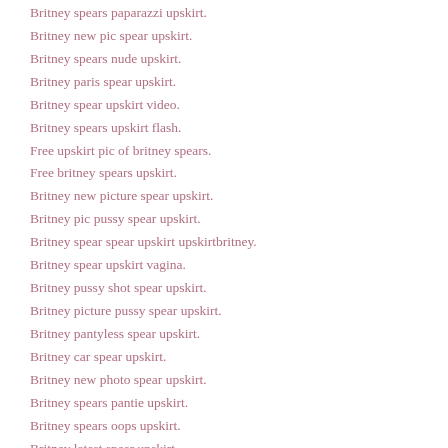Britney spears paparazzi upskirt.
Britney new pic spear upskirt.
Britney spears nude upskirt.
Britney paris spear upskirt.
Britney spear upskirt video.
Britney spears upskirt flash.
Free upskirt pic of britney spears.
Free britney spears upskirt.
Britney new picture spear upskirt.
Britney pic pussy spear upskirt.
Britney spear spear upskirt upskirtbritney.
Britney spear upskirt vagina.
Britney pussy shot spear upskirt.
Britney picture pussy spear upskirt.
Britney pantyless spear upskirt.
Britney car spear upskirt.
Britney new photo spear upskirt.
Britney spears pantie upskirt.
Britney spears oops upskirt.
Britney latest spear upskirt.
Britney paparazzi pic spear upskirt.